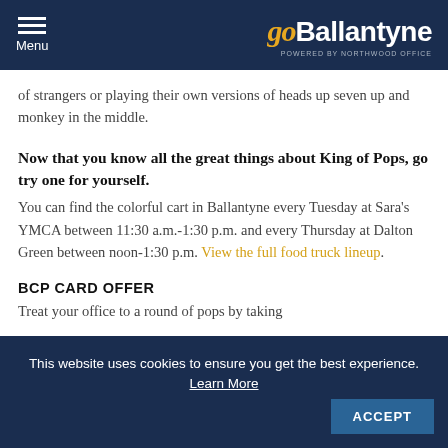Menu | goBallantyne POWERED BY NORTHWOOD OFFICE
of strangers or playing their own versions of heads up seven up and monkey in the middle.
Now that you know all the great things about King of Pops, go try one for yourself. You can find the colorful cart in Ballantyne every Tuesday at Sara's YMCA between 11:30 a.m.-1:30 p.m. and every Thursday at Dalton Green between noon-1:30 p.m. View the full food truck lineup.
BCP CARD OFFER
Treat your office to a round of pops by taking
This website uses cookies to ensure you get the best experience. Learn More ACCEPT